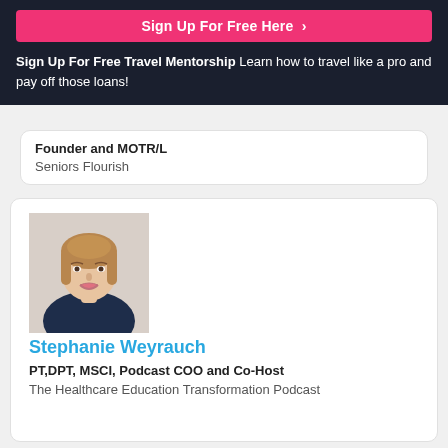Sign Up For Free Here ›
Sign Up For Free Travel Mentorship Learn how to travel like a pro and pay off those loans!
Founder and MOTR/L
Seniors Flourish
[Figure (photo): Headshot of Stephanie Weyrauch, a young woman with light brown hair, smiling, wearing a dark navy blazer]
Stephanie Weyrauch
PT,DPT, MSCI, Podcast COO and Co-Host
The Healthcare Education Transformation Podcast